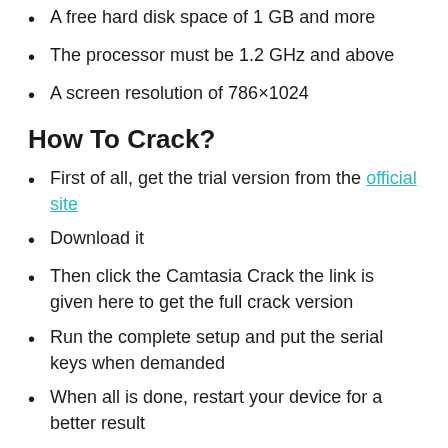A free hard disk space of 1 GB and more
The processor must be 1.2 GHz and above
A screen resolution of 786×1024
How To Crack?
First of all, get the trial version from the official site
Download it
Then click the Camtasia Crack the link is given here to get the full crack version
Run the complete setup and put the serial keys when demanded
When all is done, restart your device for a better result
That's all, enjoy